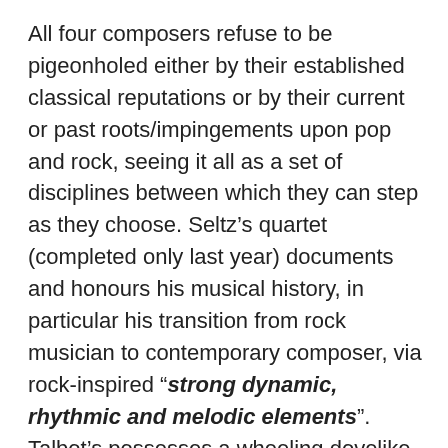All four composers refuse to be pigeonholed either by their established classical reputations or by their current or past roots/impingements upon pop and rock, seeing it all as a set of disciplines between which they can step as they choose. Seltz's quartet (completed only last year) documents and honours his musical history, in particular his transition from rock musician to contemporary composer, via rock-inspired “strong dynamic, rhythmic and melodic elements”. Talbot’s possesses a wheeling dovelike softness in its graceful minimal approach, while Dessner’s takes tips from Reich, Adams and Glass but explodes them with a hoedown vigour. Sidestepping his confessed anxieties regarding the emotional exposure of the form, Muhly’s is bookended by an emphasis on lively ticking mechanisms and accents, counterbalanced by a